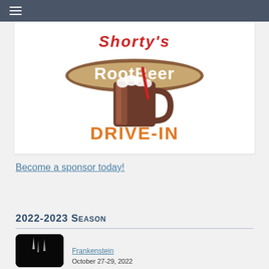[Figure (logo): Shorty's Root Beer Drive-In logo featuring a root beer mug with foam and the text 'RootBeer' and 'DRIVE-IN' in orange lettering]
Become a sponsor today!
2022-2023 Season
[Figure (photo): Dark thumbnail image with lightning bolt effect for Frankenstein movie]
Frankenstein
October 27-29, 2022